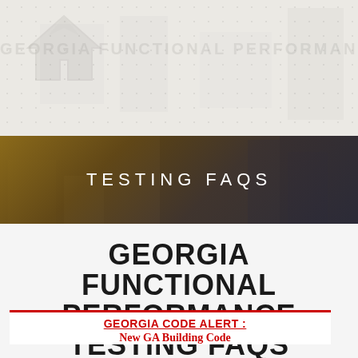[Figure (photo): Aerial construction site and city buildings background image with semi-transparent dark brown/tan overlay, watermark logo and dotted pattern in the upper portion]
TESTING FAQS
GEORGIA FUNCTIONAL PERFORMANCE TESTING FAQS
23 Dec 2019, Posted by Wayne Mangum in Uncategorized
GEORGIA CODE ALERT : New GA Building Code